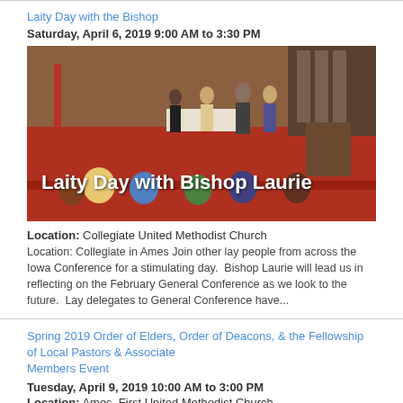Laity Day with the Bishop
Saturday, April 6, 2019 9:00 AM to 3:30 PM
[Figure (photo): Photo of people gathered inside a church with red carpeting and decor, with the text overlay 'Laity Day with Bishop Laurie']
Location: Collegiate United Methodist Church
Location: Collegiate in Ames Join other lay people from across the Iowa Conference for a stimulating day.  Bishop Laurie will lead us in reflecting on the February General Conference as we look to the future.  Lay delegates to General Conference have...
Spring 2019 Order of Elders, Order of Deacons, & the Fellowship of Local Pastors & Associate Members Event
Tuesday, April 9, 2019 10:00 AM to 3:00 PM
Location: Ames, First United Methodist Church